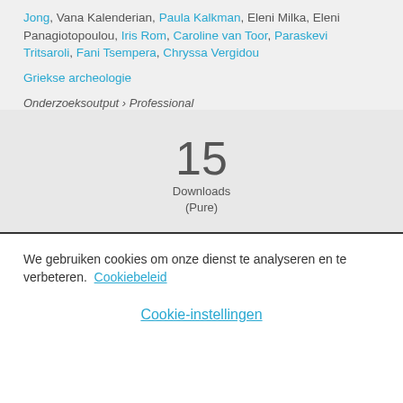Jong, Vana Kalenderian, Paula Kalkman, Eleni Milka, Eleni Panagiotopoulou, Iris Rom, Caroline van Toor, Paraskevi Tritsaroli, Fani Tsempera, Chryssa Vergidou
Griekse archeologie
Onderzoeksoutput › Professional
15 Downloads (Pure)
We gebruiken cookies om onze dienst te analyseren en te verbeteren. Cookiebeleid
Cookie-instellingen